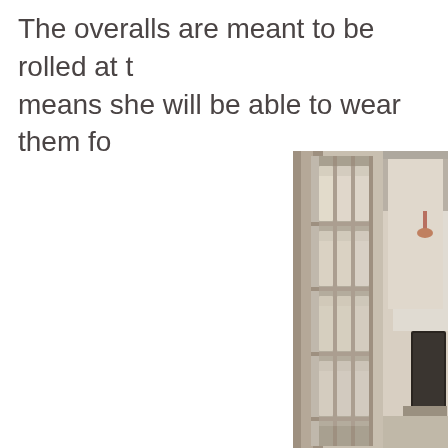The overalls are meant to be rolled at the cuffs, which means she will be able to wear them fo...
[Figure (photo): A photograph of white-framed French doors with multiple glass panes, partially open, showing a hallway interior with warm lighting. A dark-framed mirror and furniture are visible in the background.]